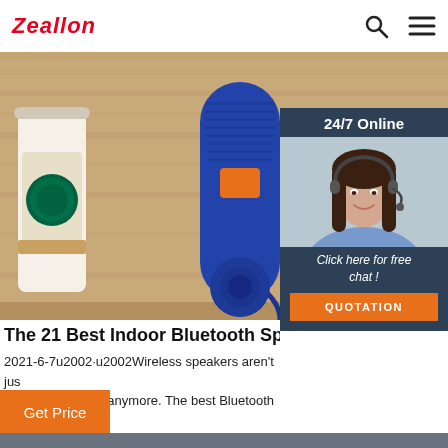Zeallon
[Figure (photo): Blue JBL-style portable Bluetooth speaker next to a Starbucks coffee cup on a wooden surface]
[Figure (photo): 24/7 Online customer service widget showing a smiling woman with a headset, with a 'Click here for free chat!' button and 'QUOTATION' button]
The 21 Best Indoor Bluetooth Speakers for E…
2021-6-7u2002·u2002Wireless speakers aren't just and beach hangs anymore. The best Bluetooth sp be relegated to small, portable music players with
Get Price